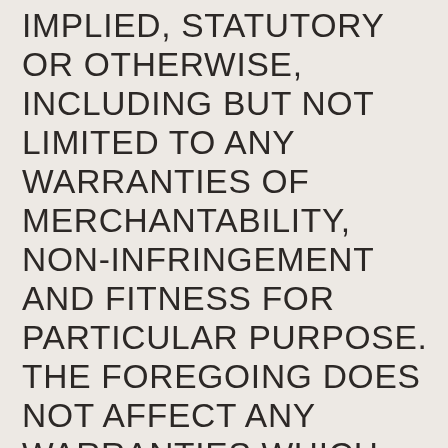IMPLIED, STATUTORY OR OTHERWISE, INCLUDING BUT NOT LIMITED TO ANY WARRANTIES OF MERCHANTABILITY, NON-INFRINGEMENT AND FITNESS FOR PARTICULAR PURPOSE. THE FOREGOING DOES NOT AFFECT ANY WARRANTIES WHICH CANNOT BE EXCLUDED OR LIMITED UNDER APPLICABLE LAW.
This website uses cookies. By scrolling around the website you agree to our Privacy Policy. Learn more
OK, Got it!
IN NO EVENT WILL [WEBSITE], ITS AFFILIATES, SERVICE PROVIDERS OR